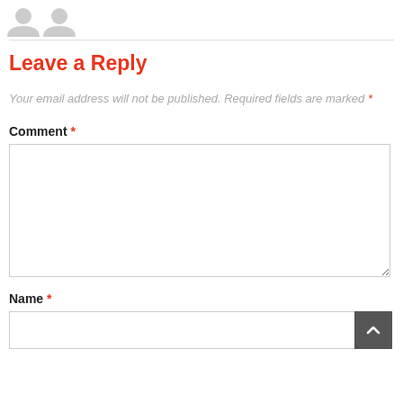[Figure (illustration): Two gray avatar/user icons side by side in the top-left corner]
Leave a Reply
Your email address will not be published. Required fields are marked *
Comment *
[Figure (other): Empty comment textarea input box]
Name *
[Figure (other): Empty name text input box with scroll-to-top button in bottom right corner]